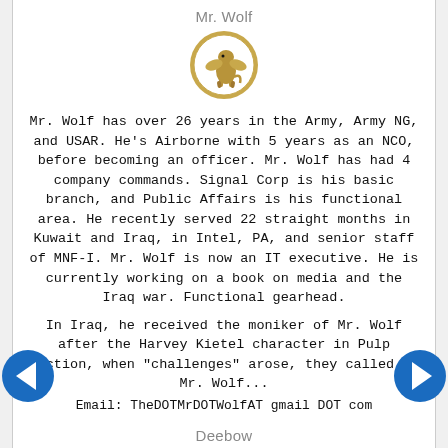Mr. Wolf
[Figure (logo): Circular emblem with gold griffin on white background, gold border]
Mr. Wolf has over 26 years in the Army, Army NG, and USAR. He's Airborne with 5 years as an NCO, before becoming an officer. Mr. Wolf has had 4 company commands. Signal Corp is his basic branch, and Public Affairs is his functional area. He recently served 22 straight months in Kuwait and Iraq, in Intel, PA, and senior staff of MNF-I. Mr. Wolf is now an IT executive. He is currently working on a book on media and the Iraq war. Functional gearhead.
In Iraq, he received the moniker of Mr. Wolf after the Harvey Kietel character in Pulp Fiction, when "challenges" arose, they called on Mr. Wolf...
Email: TheDOTMrDOTWolfAT gmail DOT com
Deebow